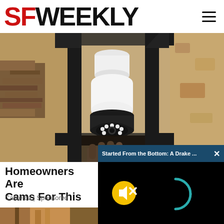SF WEEKLY
[Figure (photo): Close-up photo of a security camera shaped like a light bulb installed in a black outdoor lantern fixture against a textured stucco wall]
Homeowners Are Cams For This
Camerca | Sponsored
Started From the Bottom: A Drake ...
[Figure (screenshot): Black video player overlay with a yellow mute button icon and a teal loading spinner arc]